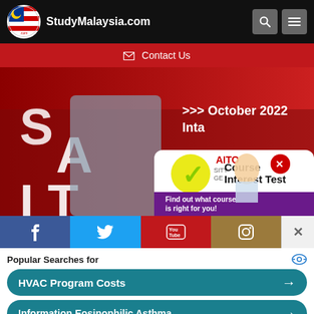StudyMalaysia.com
Contact Us
[Figure (photo): SAITO University College advertisement banner showing a student pointing upward with text 'October 2022 Inta...' and a Course Interest Test popup overlay with a girl holding a pen, and a Malaysian flag checkmark logo. Text reads: Course Interest Test - Find out what course is right for you!]
[Figure (infographic): Social media bar with Facebook (blue), Twitter (light blue), YouTube (red), and Instagram (brown/tan) icons, with a white X close button on the right.]
Popular Searches for
HVAC Program Costs
Information Eosinophilic Asthma
Yahoo! Search | Sponsored